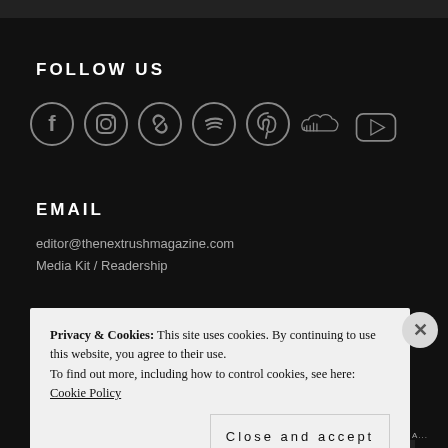FOLLOW US
[Figure (illustration): Row of social media icons: Facebook, Instagram, Chain links, Spotify, Pinterest, SoundCloud, YouTube]
EMAIL
editor@thenextrushmagazine.com
Media Kit / Readership
Privacy & Cookies: This site uses cookies. By continuing to use this website, you agree to their use.
To find out more, including how to control cookies, see here: Cookie Policy
Close and accept
NEXT: THIS A...